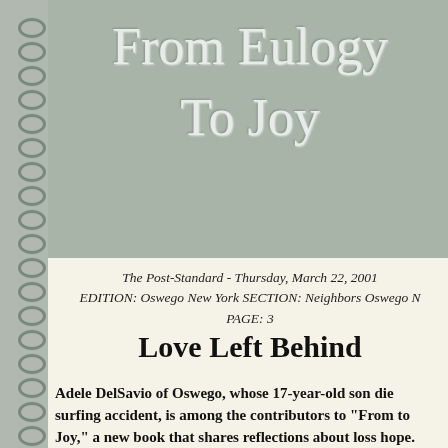[Figure (illustration): Book cover with sage green background showing cursive title 'From Eulogy To Joy' in decorative script with spiral binding on left side]
The Post-Standard - Thursday, March 22, 2001
EDITION: Oswego New York SECTION: Neighbors Oswego N
PAGE: 3
Love Left Behind
Adele DelSavio of Oswego, whose 17-year-old son die surfing accident, is among the contributors to "From to Joy," a new book that shares reflections about loss hope.